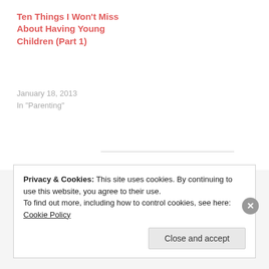Ten Things I Won't Miss About Having Young Children (Part 1)
January 18, 2013
In "Parenting"
Posted in Uncategorized
Privacy & Cookies: This site uses cookies. By continuing to use this website, you agree to their use.
To find out more, including how to control cookies, see here: Cookie Policy